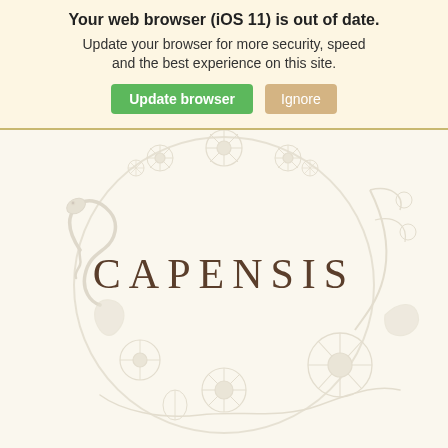Your web browser (iOS 11) is out of date. Update your browser for more security, speed and the best experience on this site. [Update browser] [Ignore]
[Figure (logo): Capensis brand logo with decorative botanical wreath illustration featuring flowers, leaves, and a serpent in light tan/beige tones, with 'CAPENSIS' text in the center in dark brown serif letters]
BY CLICKING SUBMIT YOU VERIFY THAT